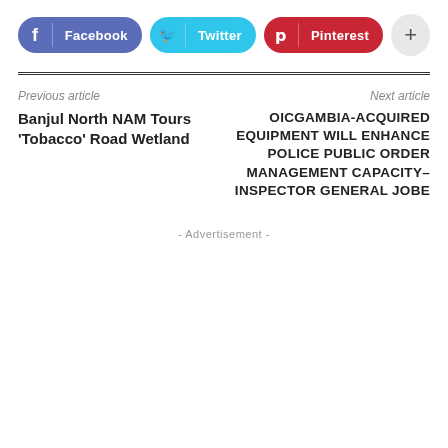[Figure (other): Social share buttons row: Facebook (blue-purple pill), Twitter (cyan pill), Pinterest (red pill), plus button (grey circle)]
Previous article
Next article
Banjul North NAM Tours 'Tobacco' Road Wetland
OICGAMBIA-ACQUIRED EQUIPMENT WILL ENHANCE POLICE PUBLIC ORDER MANAGEMENT CAPACITY– INSPECTOR GENERAL JOBE
- Advertisement -